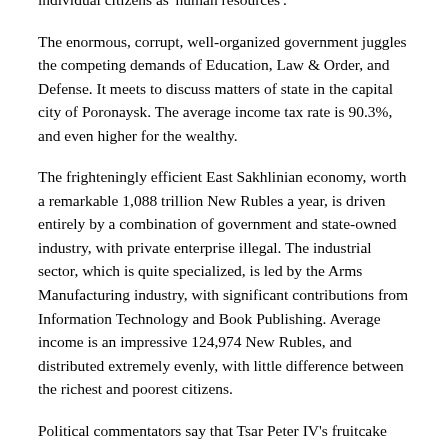individual citizens as 'human resources'.
The enormous, corrupt, well-organized government juggles the competing demands of Education, Law & Order, and Defense. It meets to discuss matters of state in the capital city of Poronaysk. The average income tax rate is 90.3%, and even higher for the wealthy.
The frighteningly efficient East Sakhlinian economy, worth a remarkable 1,088 trillion New Rubles a year, is driven entirely by a combination of government and state-owned industry, with private enterprise illegal. The industrial sector, which is quite specialized, is led by the Arms Manufacturing industry, with significant contributions from Information Technology and Book Publishing. Average income is an impressive 124,974 New Rubles, and distributed extremely evenly, with little difference between the richest and poorest citizens.
Political commentators say that Tsar Peter IV's fruitcake plans are about to go pear-shaped, space shuttles are lying silent on the ground, and...